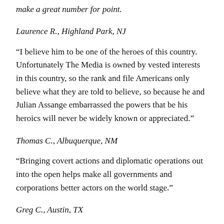make a great number for point.
Laurence R., Highland Park, NJ
“I believe him to be one of the heroes of this country. Unfortunately The Media is owned by vested interests in this country, so the rank and file Americans only believe what they are told to believe, so because he and Julian Assange embarrassed the powers that be his heroics will never be widely known or appreciated.”
Thomas C., Albuquerque, NM
“Bringing covert actions and diplomatic operations out into the open helps make all governments and corporations better actors on the world stage.”
Greg C., Austin, TX
“You might also expect President Obama to...